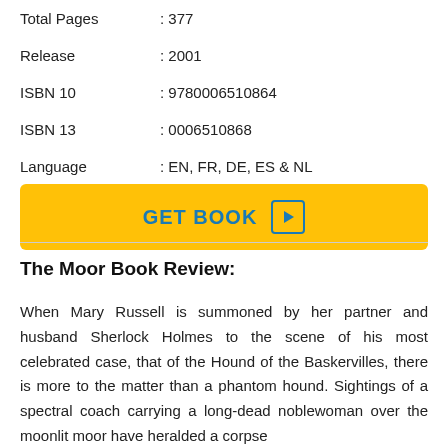Total Pages : 377
Release : 2001
ISBN 10 : 9780006510864
ISBN 13 : 0006510868
Language : EN, FR, DE, ES & NL
[Figure (other): GET BOOK button with play icon in yellow/amber color]
The Moor Book Review:
When Mary Russell is summoned by her partner and husband Sherlock Holmes to the scene of his most celebrated case, that of the Hound of the Baskervilles, there is more to the matter than a phantom hound. Sightings of a spectral coach carrying a long-dead noblewoman over the moonlit moor have heralded a corpse